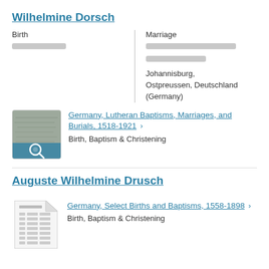Wilhelmine Dorsch
Birth
Marriage
Johannisburg, Ostpreussen, Deutschland (Germany)
[Figure (photo): Thumbnail image of a historical document record — appears to be a scanned page with a magnifying glass icon overlay]
Germany, Lutheran Baptisms, Marriages, and Burials, 1518-1921 > Birth, Baptism & Christening
Auguste Wilhelmine Drusch
[Figure (illustration): Document icon — stylized paper/form icon with lines representing text fields]
Germany, Select Births and Baptisms, 1558-1898 > Birth, Baptism & Christening